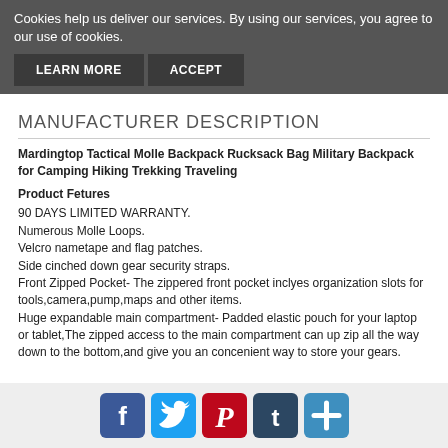Cookies help us deliver our services. By using our services, you agree to our use of cookies.
LEARN MORE  ACCEPT
MANUFACTURER DESCRIPTION
Mardingtop Tactical Molle Backpack Rucksack Bag Military Backpack for Camping Hiking Trekking Traveling
Product Fetures
90 DAYS LIMITED WARRANTY.
Numerous Molle Loops.
Velcro nametape and flag patches.
Side cinched down gear security straps.
Front Zipped Pocket- The zippered front pocket inclyes organization slots for tools,camera,pump,maps and other items.
Huge expandable main compartment- Padded elastic pouch for your laptop or tablet,The zipped access to the main compartment can up zip all the way down to the bottom,and give you an concenient way to store your gears.
[Figure (other): Social media sharing icons: Facebook, Twitter, Pinterest, Tumblr, and a plus/share button]